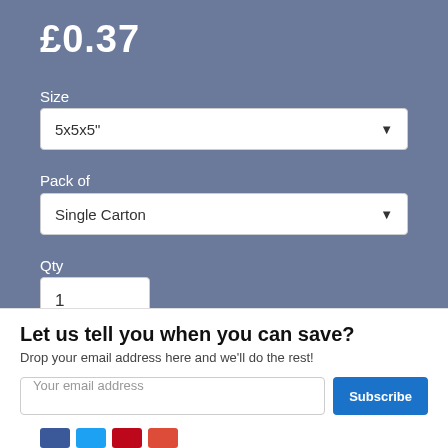£0.37
Size
5x5x5"
Pack of
Single Carton
Qty
1
Add to Cart
Let us tell you when you can save?
Drop your email address here and we'll do the rest!
Your email address
Subscribe